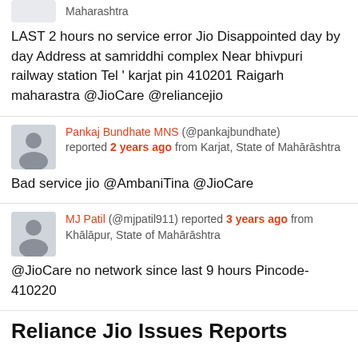LAST 2 hours no service error Jio Disappointed day by day Address at samriddhi complex Near bhivpuri railway station Tel ' karjat pin 410201 Raigarh maharastra @JioCare @reliancejio
Pankaj Bundhate MNS (@pankajbundhate) reported 2 years ago from Karjat, State of Mahārāshtra
Bad service jio @AmbaniTina @JioCare
MJ Patil (@mjpatil911) reported 3 years ago from Khālāpur, State of Mahārāshtra @JioCare no network since last 9 hours Pincode-410220
Reliance Jio Issues Reports